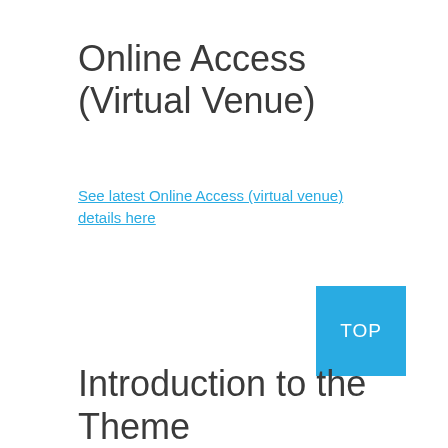Online Access (Virtual Venue)
See latest Online Access (virtual venue) details here
Introduction to the Theme